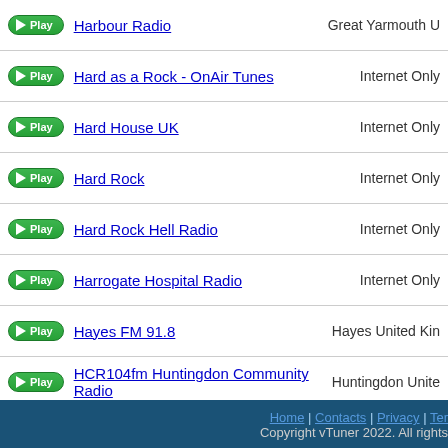Harbour Radio — Great Yarmouth U
Hard as a Rock - OnAir Tunes — Internet Only
Hard House UK — Internet Only
Hard Rock — Internet Only
Hard Rock Hell Radio — Internet Only
Harrogate Hospital Radio — Internet Only
Hayes FM 91.8 — Hayes United Kin
HCR104fm Huntingdon Community Radio — Huntingdon Unite
Heart 00s — London United Ki
Heart 70s — London United Ki
39 40 41 42 43 44 45 46 47 48 49 50 51 52 53 54 55 56
Home | Contacts | Privacy | Ter  Copyright vTuner 2022. All rights